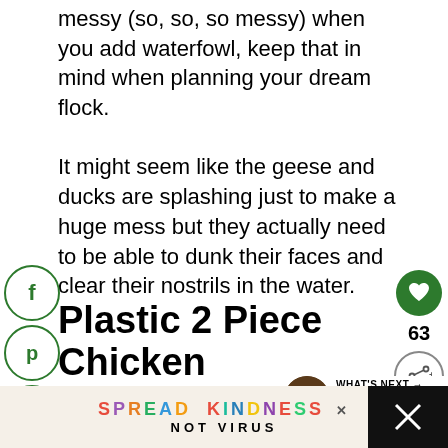messy (so, so, so messy) when you add waterfowl, keep that in mind when planning your dream flock.
It might seem like the geese and ducks are splashing just to make a huge mess but they actually need to be able to dunk their faces and clear their nostrils in the water.
[Figure (infographic): Social sharing icons: Facebook (f), Pinterest (p), Reddit alien, and Tumblr (t) in green circular outlines on the left side]
[Figure (infographic): Right side: green heart button, count 63, and share icon]
Plastic 2 Piece Chicken Waterer
Two piece gravity fed waterers are the standard
[Figure (infographic): What's Next arrow with thumbnail image and text: keeping chickens]
[Figure (infographic): Bottom ad banner: SPREAD KINDNESS / NOT VIRUS colorful text on beige background with close X button]